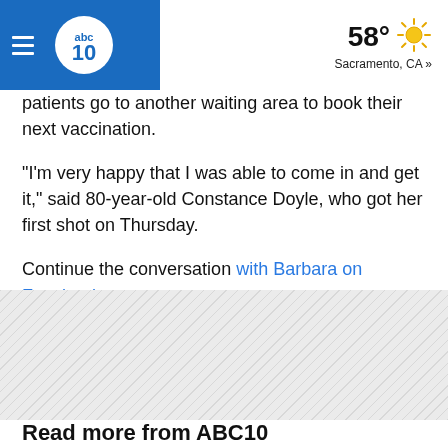abc10 | 58° Sacramento, CA »
patients go to another waiting area to book their next vaccination.
"I'm very happy that I was able to come in and get it," said 80-year-old Constance Doyle, who got her first shot on Thursday.
Continue the conversation with Barbara on Facebook.
[Figure (other): Hatched/striped advertisement placeholder area]
Read more from ABC10